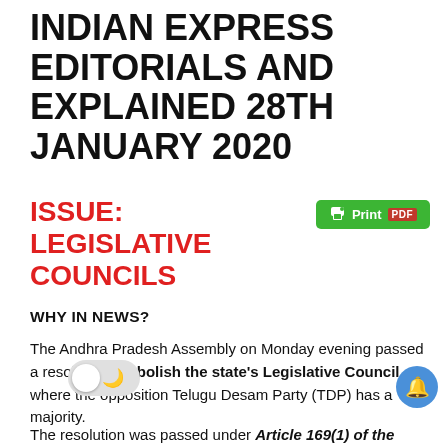INDIAN EXPRESS EDITORIALS AND EXPLAINED 28TH JANUARY 2020
ISSUE: LEGISLATIVE COUNCILS
WHY IN NEWS?
The Andhra Pradesh Assembly on Monday evening passed a resolution to abolish the state's Legislative Council, where the opposition Telugu Desam Party (TDP) has a majority.
The resolution was passed under Article 169(1) of the Constitution, which allows Parliament to either create or abolish a Council in a state "if the Legislative Assembly of the State passes a resolution to that effect by a majority